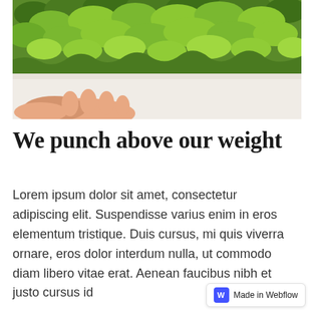[Figure (photo): Overhead view of a green moss wall with a hand visible at the bottom left, against a white/cream wall surface]
We punch above our weight
Lorem ipsum dolor sit amet, consectetur adipiscing elit. Suspendisse varius enim in eros elementum tristique. Duis cursus, mi quis viverra ornare, eros dolor interdum nulla, ut commodo diam libero vitae erat. Aenean faucibus nibh et justo cursus id